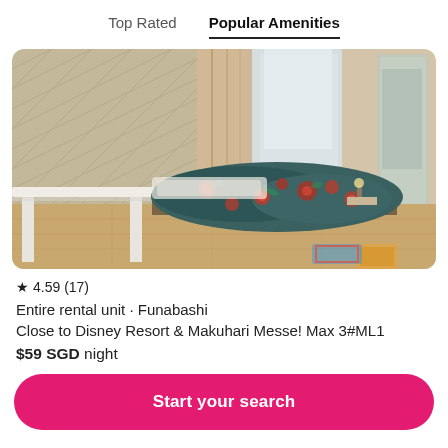Top Rated   Popular Amenities
[Figure (photo): Interior photo of a Japanese apartment bedroom with a floral patterned comforter on a low bed, light wood herringbone wall panels, a white side table/shelf, and a mirror reflecting the room. Warm natural light from window.]
★ 4.59 (17)
Entire rental unit · Funabashi
Close to Disney Resort & Makuhari Messe! Max 3#ML1
$59 SGD night
Start your search